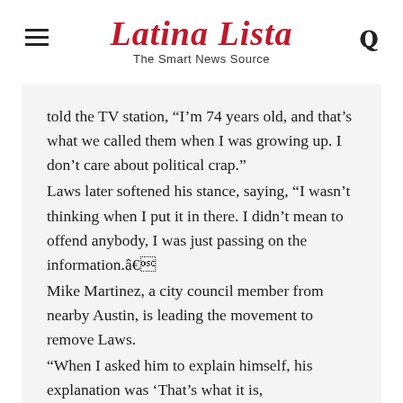Latina Lista — The Smart News Source
told the TV station, “I’m 74 years old, and that’s what we called them when I was growing up. I don’t care about political crap.” Laws later softened his stance, saying, “I wasn’t thinking when I put it in there. I didn’t mean to offend anybody, I was just passing on the information.â€ Mike Martinez, a city council member from nearby Austin, is leading the movement to remove Laws. “When I asked him to explain himself, his explanation was ‘That’s what it is,